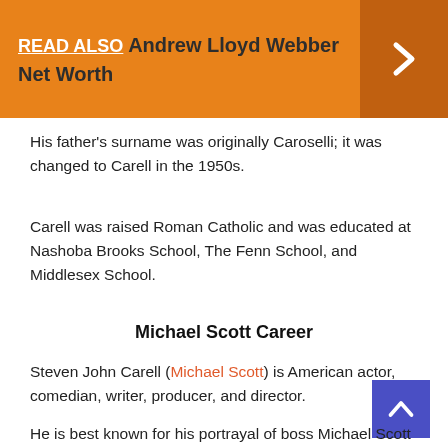[Figure (infographic): Orange banner with 'READ ALSO Andrew Lloyd Webber Net Worth' text and a right-arrow chevron on a darker orange box on the right side]
His father's surname was originally Caroselli; it was changed to Carell in the 1950s.
Carell was raised Roman Catholic and was educated at Nashoba Brooks School, The Fenn School, and Middlesex School.
Michael Scott Career
Steven John Carell (Michael Scott) is American actor, comedian, writer, producer, and director.
He is best known for his portrayal of boss Michael Scott on the